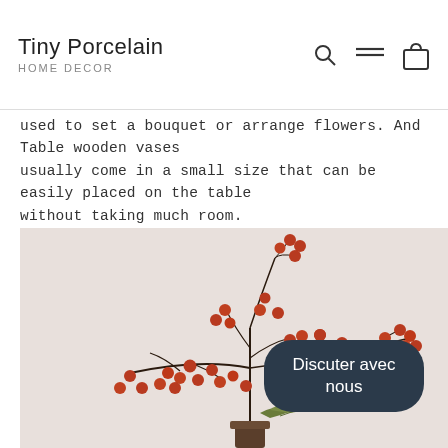Tiny Porcelain HOME DECOR
used to set a bouquet or arrange flowers. And Table wooden vases usually come in a small size that can be easily placed on the table without taking much room.
[Figure (photo): A decorative branch with red berries arranged in a small wooden vase against a light background, with a 'Discuter avec nous' chat button overlay]